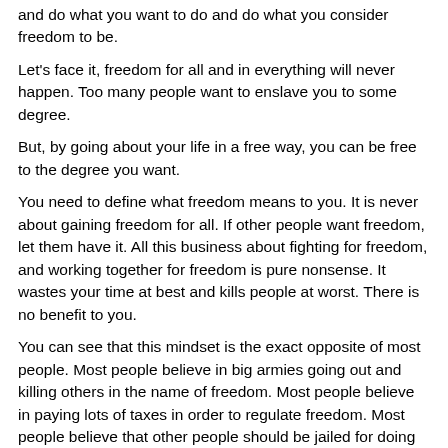and do what you want to do and do what you consider freedom to be.
Let's face it, freedom for all and in everything will never happen. Too many people want to enslave you to some degree.
But, by going about your life in a free way, you can be free to the degree you want.
You need to define what freedom means to you. It is never about gaining freedom for all. If other people want freedom, let them have it. All this business about fighting for freedom, and working together for freedom is pure nonsense. It wastes your time at best and kills people at worst. There is no benefit to you.
You can see that this mindset is the exact opposite of most people. Most people believe in big armies going out and killing others in the name of freedom. Most people believe in paying lots of taxes in order to regulate freedom. Most people believe that other people should be jailed for doing things they don't like. It is a never ending story.
Be free, but act normal.